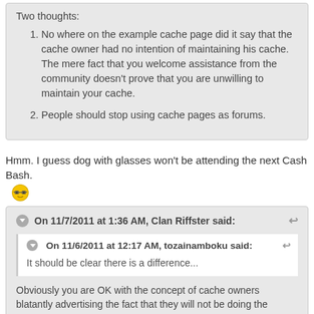Two thoughts:
No where on the example cache page did it say that the cache owner had no intention of maintaining his cache. The mere fact that you welcome assistance from the community doesn't prove that you are unwilling to maintain your cache.
People should stop using cache pages as forums.
Hmm. I guess dog with glasses won't be attending the next Cash Bash. [emoji]
On 11/7/2011 at 1:36 AM, Clan Riffster said:
On 11/6/2011 at 12:17 AM, tozainamboku said:
It should be clear there is a difference...
Obviously you are OK with the concept of cache owners blatantly advertising the fact that they will not be doing the maintenance